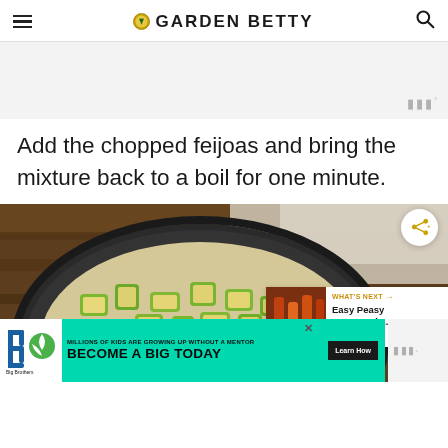GARDEN BETTY
[Figure (other): Advertisement placeholder gray block with Moat watermark logo]
Add the chopped feijoas and bring the mixture back to a boil for one minute.
[Figure (photo): Cast iron skillet containing chopped feijoa pieces in liquid, on a wooden surface. Overlay: share button, What's Next panel showing 'Easy Peasy Homemade...' with orange drink thumbnail, and Big Brothers Big Sisters advertisement banner at bottom.]